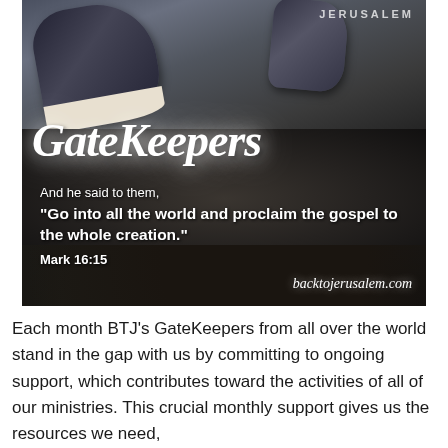[Figure (photo): Photo of person walking on gravel path showing shoes/feet from behind, with overlaid text: 'JERUSALEM' top right, 'GateKeepers' in large script, Bible verse quote 'And he said to them, "Go into all the world and proclaim the gospel to the whole creation." Mark 16:15', and 'backtojerusalem.com' bottom right.]
Each month BTJ's GateKeepers from all over the world stand in the gap with us by committing to ongoing support, which contributes toward the activities of all of our ministries. This crucial monthly support gives us the resources we need,